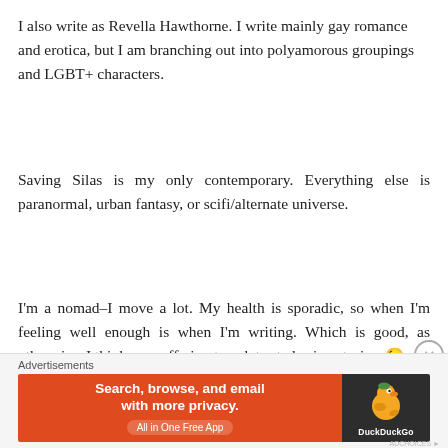I also write as Revella Hawthorne. I write mainly gay romance and erotica, but I am branching out into polyamorous groupings and LGBT+ characters.
Saving Silas is my only contemporary. Everything else is paranormal, urban fantasy, or scifi/alternate universe.
I'm a nomad–I move a lot. My health is sporadic, so when I'm feeling well enough is when I'm writing. Which is good, as otherwise, I think my suffering translates to boring stories. 😉
Advertisements
[Figure (other): DuckDuckGo advertisement banner: orange left panel with text 'Search, browse, and email with more privacy. All in One Free App', dark right panel with DuckDuckGo logo duck icon and 'DuckDuckGo' text.]